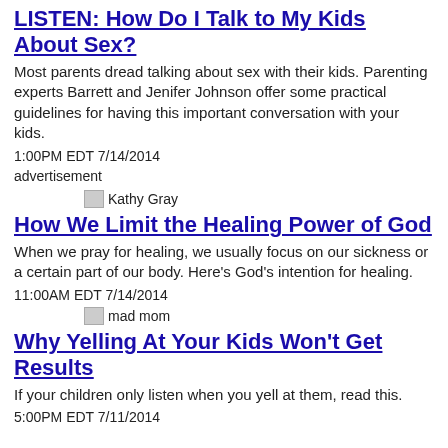LISTEN: How Do I Talk to My Kids About Sex?
Most parents dread talking about sex with their kids. Parenting experts Barrett and Jenifer Johnson offer some practical guidelines for having this important conversation with your kids.
1:00PM EDT 7/14/2014
advertisement
[Figure (photo): Small thumbnail image labeled Kathy Gray]
How We Limit the Healing Power of God
When we pray for healing, we usually focus on our sickness or a certain part of our body. Here's God's intention for healing.
11:00AM EDT 7/14/2014
[Figure (photo): Small thumbnail image labeled mad mom]
Why Yelling At Your Kids Won't Get Results
If your children only listen when you yell at them, read this.
5:00PM EDT 7/11/2014